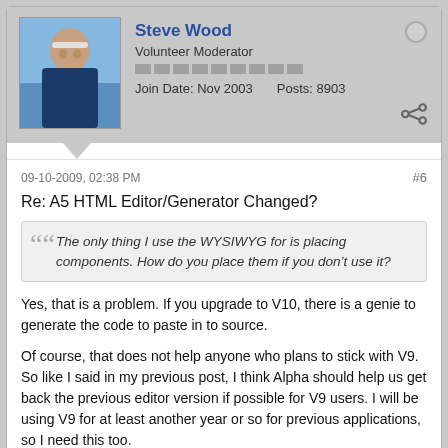Steve Wood
Volunteer Moderator
Join Date: Nov 2003    Posts: 8903
09-10-2009, 02:38 PM
#6
Re: A5 HTML Editor/Generator Changed?
The only thing I use the WYSIWYG for is placing components. How do you place them if you don't use it?
Yes, that is a problem. If you upgrade to V10, there is a genie to generate the code to paste in to source.
Of course, that does not help anyone who plans to stick with V9. So like I said in my previous post, I think Alpha should help us get back the previous editor version if possible for V9 users. I will be using V9 for at least another year or so for previous applications, so I need this too.
What others have done (to avoid using WYSIWYG) is to create a dummy page, insert the component in that dummy page, and then copy-paste the code to the desired page. Lots of extra work!!